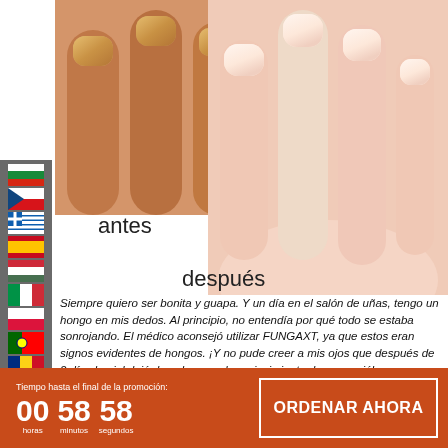[Figure (photo): Before and after comparison photo of fingernails. Left side shows discolored, reddish-brown nails (before). Right side shows healthy, clean pink nails (after).]
antes
después
Siempre quiero ser bonita y guapa. Y un día en el salón de uñas, tengo un hongo en mis dedos. Al principio, no entendía por qué todo se estaba sonrojando. El médico aconsejó utilizar FUNGAXT, ya que estos eran signos evidentes de hongos. ¡Y no pude creer a mis ojos que después de 2 días la piel dejó de pelarse y el enrojecimiento desapareció!
Carmen, 29 años
Tiempo hasta el final de la promoción: 00 horas 58 minutos 58 segundos
ORDENAR AHORA